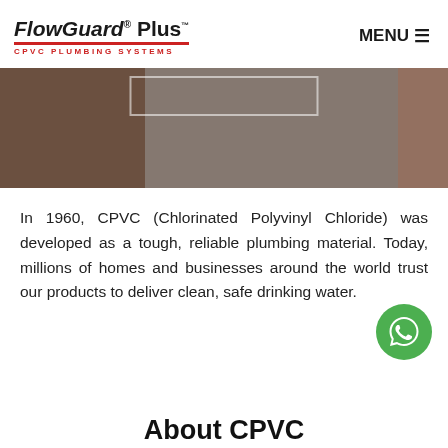FlowGuard® Plus CPVC Plumbing Systems — MENU
[Figure (photo): Hero image showing plumbing installation scene with dark brown and grey tones; white rectangular button outline overlay in upper center]
In 1960, CPVC (Chlorinated Polyvinyl Chloride) was developed as a tough, reliable plumbing material. Today, millions of homes and businesses around the world trust our products to deliver clean, safe drinking water.
[Figure (logo): WhatsApp chat button — green circle with white phone/speech-bubble icon]
About CPVC